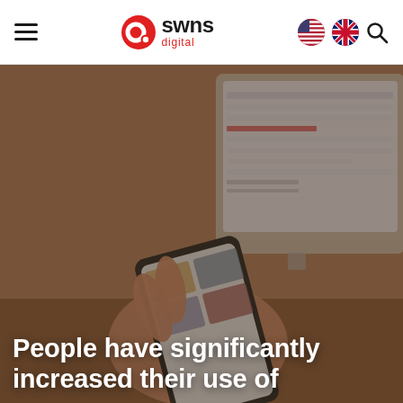SWNS Digital — navigation bar with hamburger menu, logo, flag icons (US and UK), and search icon
[Figure (photo): Close-up photo of a person's hand holding a smartphone with a tablet/screen visible in the blurred background showing a spreadsheet or dashboard interface. Warm, slightly dark ambient lighting.]
People have significantly increased their use of